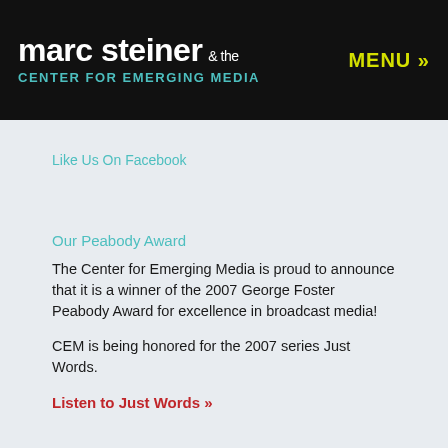marc steiner & the CENTER FOR EMERGING MEDIA   MENU »
Like Us On Facebook
Our Peabody Award
The Center for Emerging Media is proud to announce that it is a winner of the 2007 George Foster Peabody Award for excellence in broadcast media!
CEM is being honored for the 2007 series Just Words.
Listen to Just Words »